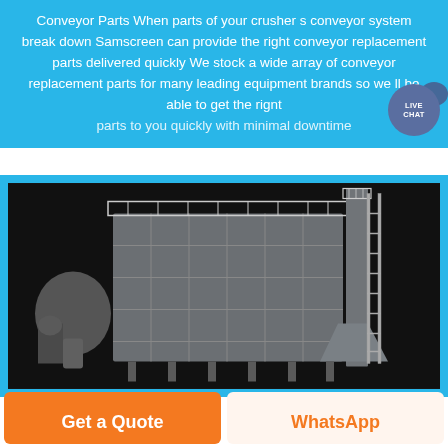Conveyor Parts When parts of your crusher s conveyor system break down Samscreen can provide the right conveyor replacement parts delivered quickly We stock a wide array of conveyor replacement parts for many leading equipment brands so we ll be able to get the rignt parts to you quickly with minimal downtime
[Figure (photo): Industrial dust collector / filter unit equipment photo on dark background, showing large gray modular filter housing with metal grating, staircase/ladder on right side, and auxiliary machinery on the left.]
Get a Quote
WhatsApp